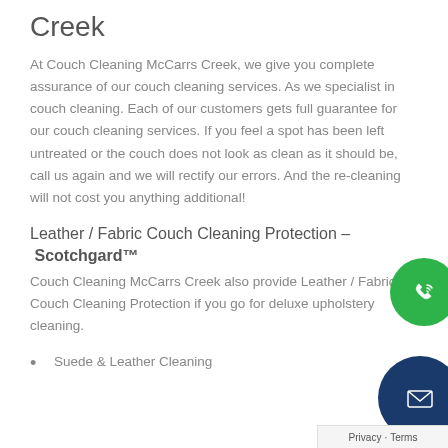Creek
At Couch Cleaning McCarrs Creek, we give you complete assurance of our couch cleaning services. As we specialist in couch cleaning. Each of our customers gets full guarantee for our couch cleaning services. If you feel a spot has been left untreated or the couch does not look as clean as it should be, call us again and we will rectify our errors. And the re-cleaning will not cost you anything additional!
Leather / Fabric Couch Cleaning Protection – Scotchgard™
Couch Cleaning McCarrs Creek also provide Leather / Fabric Couch Cleaning Protection if you go for deluxe upholstery cleaning.
Suede & Leather Cleaning